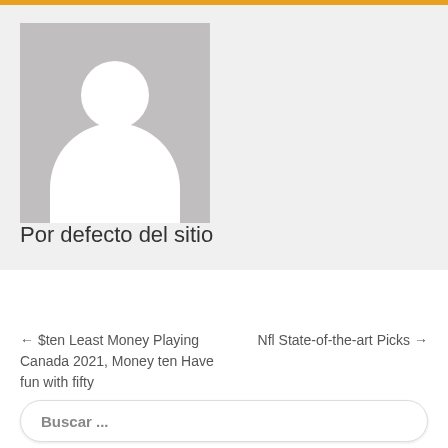[Figure (illustration): Default avatar placeholder image showing a gray background with a white silhouette of a person (circle head and rounded body shape)]
Por defecto del sitio
← $ten Least Money Playing Canada 2021, Money ten Have fun with fifty
Nfl State-of-the-art Picks →
Buscar ...